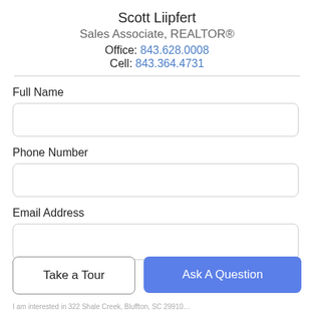Scott Liipfert
Sales Associate, REALTOR®
Office: 843.628.0008
Cell: 843.364.4731
Full Name
Phone Number
Email Address
Take a Tour
Ask A Question
I am interested in 322 Shale Creek, Bluffton, SC 29910...